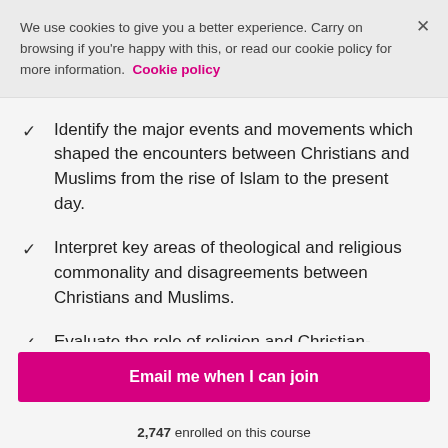We use cookies to give you a better experience. Carry on browsing if you're happy with this, or read our cookie policy for more information. Cookie policy
Identify the major events and movements which shaped the encounters between Christians and Muslims from the rise of Islam to the present day.
Interpret key areas of theological and religious commonality and disagreements between Christians and Muslims.
Evaluate the role of religion and Christian-Muslim
Email me when I can join
2,747 enrolled on this course